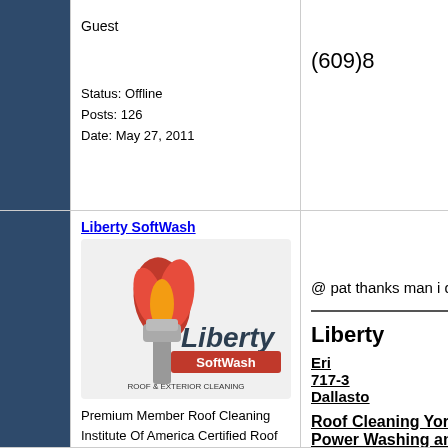(609)8...
Guest
Status: Offline
Posts: 126
Date: May 27, 2011
Liberty SoftWash
[Figure (logo): Liberty SoftWash - Roof & Exterior Cleaning logo with torch graphic]
Premium Member Roof Cleaning Institute Of America Certified Roof Cleaning Specialist
Status: Offline
@ pat thanks man i did it and wil...
Liberty...
Eri...
717-3...
Dallasto...
Roof Cleaning York, Lak...
Power Washing and Pressu...
Harris...